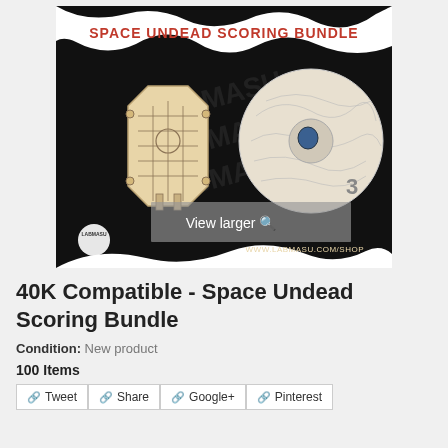[Figure (photo): Product photo showing the Space Undead Scoring Bundle on a dark background with white paint-splash edges. Contains a coffin-shaped laser-cut wooden scoring board and a circular textured dial/disc. Text 'SPACE UNDEAD SCORING BUNDLE' in red at the top, logo and 'www.labmasu.com/shop' at the bottom.]
40K Compatible - Space Undead Scoring Bundle
Condition: New product
100 Items
Tweet  Share  Google+  Pinterest